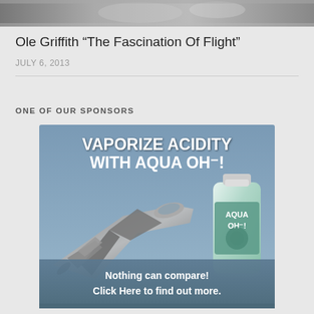[Figure (photo): Top strip showing a partial photograph, likely of a person related to the article about Ole Griffith]
Ole Griffith “The Fascination Of Flight”
JULY 6, 2013
ONE OF OUR SPONSORS
[Figure (photo): Advertisement banner for Aqua OH- product. Shows a fighter jet (F-15) and a water bottle with the Aqua OH- label. Text reads: VAPORIZE ACIDITY WITH AQUA OH-! Nothing can compare! Click Here to find out more.]